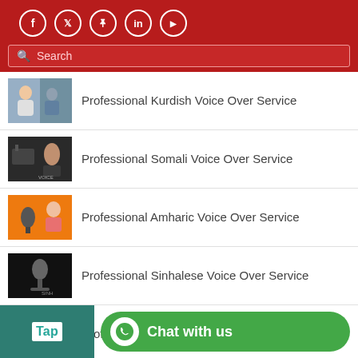Social icons: Facebook, Twitter, Pinterest, LinkedIn, YouTube | Search bar
Professional Kurdish Voice Over Service
Professional Somali Voice Over Service
Professional Amharic Voice Over Service
Professional Sinhalese Voice Over Service
Professional Bahasa Voice Over Service
Professional Yoruba Voice Over Service
Professional Dutch Voice Over Service
Tap | Chat with us